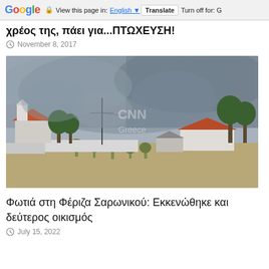Google  View this page in: English  Translate  Turn off for: G
χρέος της, πάει για...ΠΤΩΧΕΥΣΗ!
November 8, 2017
[Figure (photo): Photo showing a residential area with smoke and haze from a nearby fire. Houses with red tile roofs visible, dry scrubland in foreground, heavy grey smoke filling the sky. CNN Greece watermark visible in center.]
Φωτιά στη Φέριζα Σαρωνικού: Εκκενώθηκε και δεύτερος οικισμός
July 15, 2022